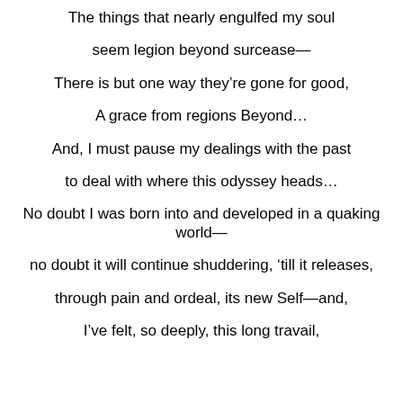The things that nearly engulfed my soul
seem legion beyond surcease—
There is but one way they're gone for good,
A grace from regions Beyond…
And, I must pause my dealings with the past
to deal with where this odyssey heads…
No doubt I was born into and developed in a quaking world—
no doubt it will continue shuddering, 'till it releases,
through pain and ordeal, its new Self—and,
I've felt, so deeply, this long travail,